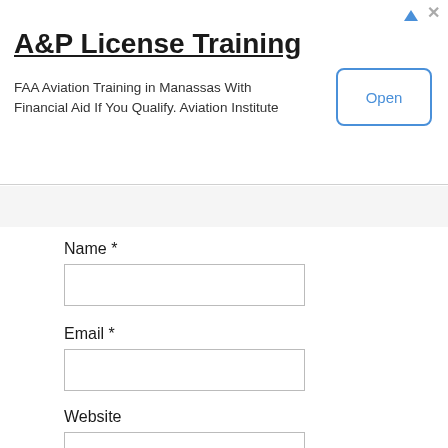[Figure (infographic): Advertisement banner for A&P License Training. Title: 'A&P License Training'. Subtitle: 'FAA Aviation Training in Manassas With Financial Aid If You Qualify. Aviation Institute'. Blue 'Open' button on the right. Ad icons (triangle and X) in top right corner.]
Name *
Email *
Website
Save my name, email, and website in this browser